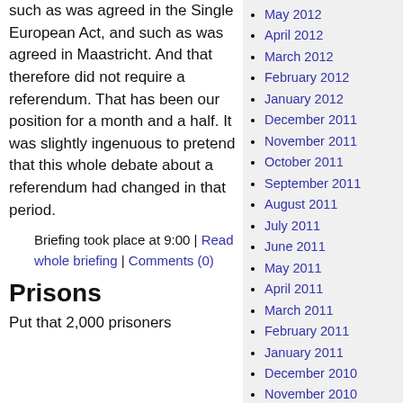such as was agreed in the Single European Act, and such as was agreed in Maastricht.  And that therefore did not require a referendum.  That has been our position for a month and a half.  It was slightly ingenuous to pretend that this whole debate about a referendum had changed in that period.
Briefing took place at 9:00 | Read whole briefing | Comments (0)
Prisons
Put that 2,000 prisoners
May 2012
April 2012
March 2012
February 2012
January 2012
December 2011
November 2011
October 2011
September 2011
August 2011
July 2011
June 2011
May 2011
April 2011
March 2011
February 2011
January 2011
December 2010
November 2010
October 2010
September 2010